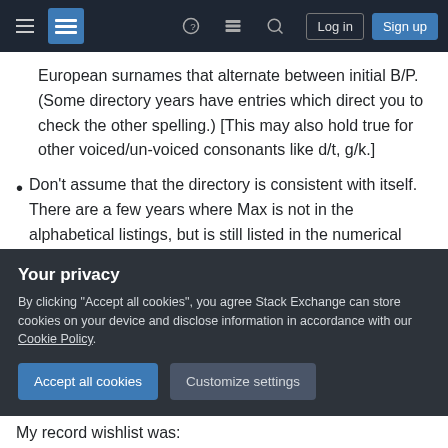Stack Exchange navigation bar with hamburger menu, logo, help, chat, search icons, Log in and Sign up buttons
European surnames that alternate between initial B/P. (Some directory years have entries which direct you to check the other spelling.) [This may also hold true for other voiced/un-voiced consonants like d/t, g/k.]
Don't assume that the directory is consistent with itself. There are a few years where Max is not in the alphabetical listings, but is still listed in the numerical directory at his previous address. Checking the new address (that is, the 1940 Census address, which Ida's obit asserts
Your privacy
By clicking "Accept all cookies", you agree Stack Exchange can store cookies on your device and disclose information in accordance with our Cookie Policy.
Accept all cookies
Customize settings
My record wishlist was: